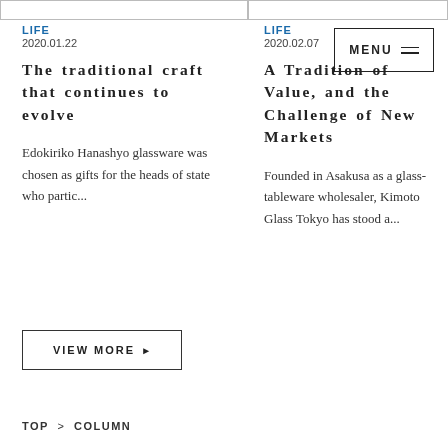LIFE 2020.01.22
LIFE 2020.02.07
MENU
The traditional craft that continues to evolve
A Tradition of Value, and the Challenge of New Markets
Edokiriko Hanashyo glassware was chosen as gifts for the heads of state who partic...
Founded in Asakusa as a glass-tableware wholesaler, Kimoto Glass Tokyo has stood a...
VIEW MORE ▶
TOP > COLUMN